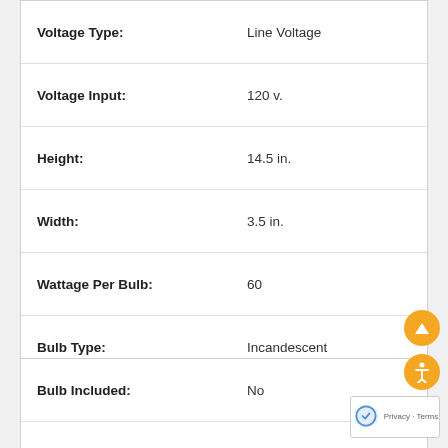| Attribute | Value |
| --- | --- |
| Voltage Type: | Line Voltage |
| Voltage Input: | 120 v. |
| Height: | 14.5 in. |
| Width: | 3.5 in. |
| Wattage Per Bulb: | 60 |
| Bulb Type: | Incandescent |
| Bulb Shape: | Flame |
| Base Type: | Candelabra Screw (E12) |
| Number Of Bulbs: | 1 |
| Attribute | Value |
| --- | --- |
| Bulb Included: | No |
| Bulb Color: | Frosted |
| Bulb Dimmable: | Yes |